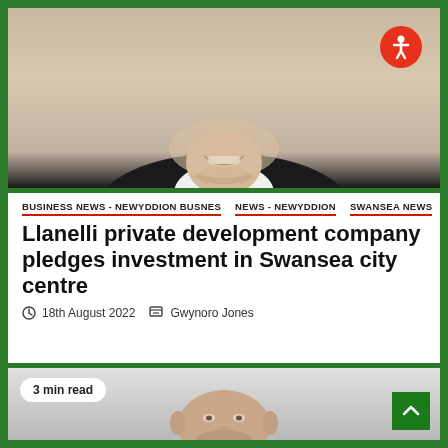[Figure (photo): Portrait photo showing lower face/chin of a smiling man in a suit with white shirt and dark jacket]
[Figure (logo): Accessibility icon — white person figure in a circle on a red/orange background]
BUSINESS NEWS - NEWYDDION BUSNES   NEWS - NEWYDDION   SWANSEA NEWS
Llanelli private development company pledges investment in Swansea city centre
18th August 2022   Gwynoro Jones
[Figure (photo): Portrait photo of a middle-aged man in police uniform (dark jacket, white shirt, black tie) against a light background]
3 min read